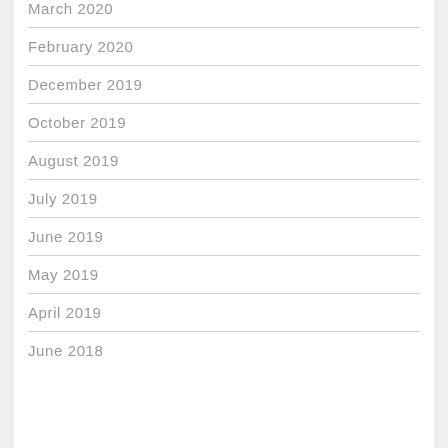March 2020
February 2020
December 2019
October 2019
August 2019
July 2019
June 2019
May 2019
April 2019
June 2018